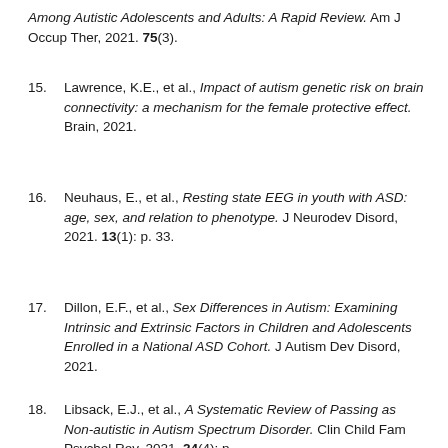Among Autistic Adolescents and Adults: A Rapid Review. Am J Occup Ther, 2021. 75(3).
15. Lawrence, K.E., et al., Impact of autism genetic risk on brain connectivity: a mechanism for the female protective effect. Brain, 2021.
16. Neuhaus, E., et al., Resting state EEG in youth with ASD: age, sex, and relation to phenotype. J Neurodev Disord, 2021. 13(1): p. 33.
17. Dillon, E.F., et al., Sex Differences in Autism: Examining Intrinsic and Extrinsic Factors in Children and Adolescents Enrolled in a National ASD Cohort. J Autism Dev Disord, 2021.
18. Libsack, E.J., et al., A Systematic Review of Passing as Non-autistic in Autism Spectrum Disorder. Clin Child Fam Psychol Rev, 2021. 24(4): p.